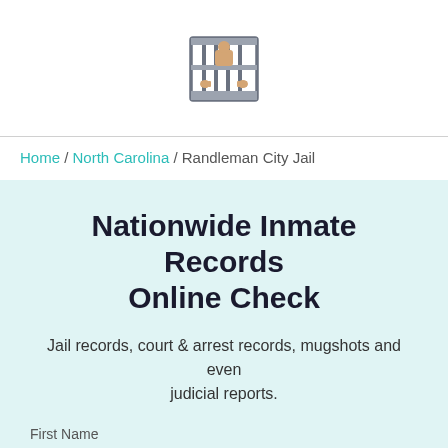[Figure (logo): Jail/prison icon: a jail cell with bars and hands gripping bars, colored in teal/gray with a tan person figure inside]
Home / North Carolina / Randleman City Jail
Nationwide Inmate Records Online Check
Jail records, court & arrest records, mugshots and even judicial reports.
First Name